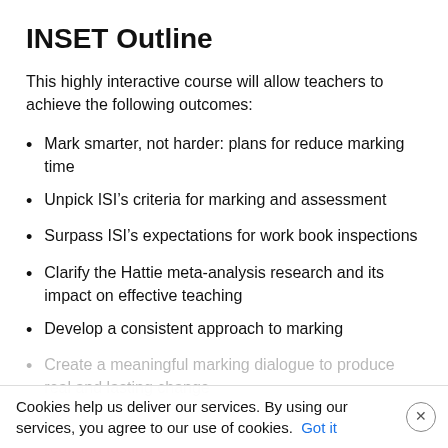INSET Outline
This highly interactive course will allow teachers to achieve the following outcomes:
Mark smarter, not harder: plans for reduce marking time
Unpick ISI’s criteria for marking and assessment
Surpass ISI’s expectations for work book inspections
Clarify the Hattie meta-analysis research and its impact on effective teaching
Develop a consistent approach to marking
Create a meaningful marking dialogue to produce real and lasting change
Cookies help us deliver our services. By using our services, you agree to our use of cookies. Got it